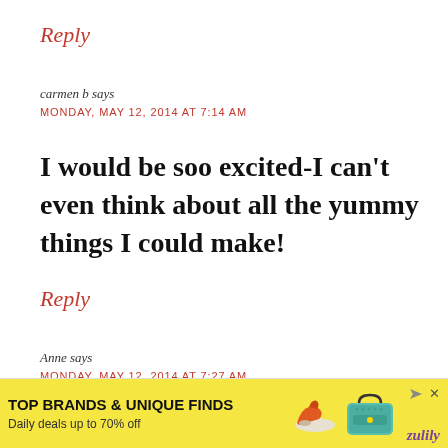Reply
carmen b says
MONDAY, MAY 12, 2014 AT 7:14 AM
I would be soo excited-I can't even think about all the yummy things I could make!
Reply
Anne says
MONDAY, MAY 12, 2014 AT 7:27 AM
Fresh bread!
[Figure (infographic): Advertisement banner for Zulily: TOP BRANDS & UNIQUE FINDS, Daily deals up to 70% off, with shoe and bag images and Zulily logo]